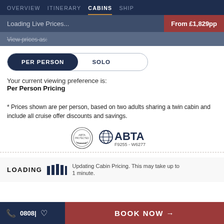OVERVIEW  ITINERARY  CABINS  SHIP
Loading Live Prices...
From £1,829pp
View prices as:
PER PERSON   SOLO
Your current viewing preference is:
Per Person Pricing
* Prices shown are per person, based on two adults sharing a twin cabin and include all cruise offer discounts and savings.
[Figure (logo): Protected logo (circle with ribbon) and ABTA logo with reference F9255 - W6277]
LOADING  Updating Cabin Pricing. This may take up to 1 minute.
08038  BOOK NOW →